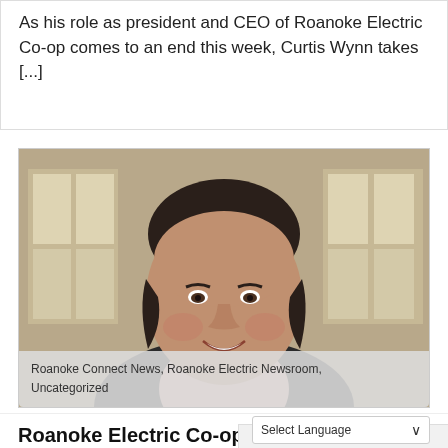As his role as president and CEO of Roanoke Electric Co-op comes to an end this week, Curtis Wynn takes [...]
[Figure (photo): Portrait photo of a smiling middle-aged man with dark hair, wearing a dark jacket and light pink shirt, standing in front of windows.]
Roanoke Connect News, Roanoke Electric Newsroom, Uncategorized
Roanoke Electric Co-op strengthens